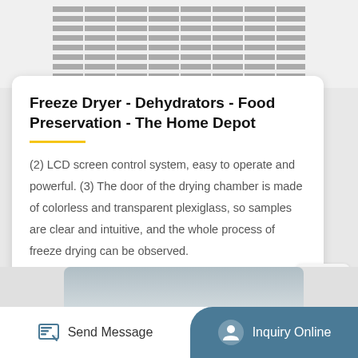[Figure (photo): Top portion of a freeze dryer or dehydrator appliance showing horizontal ventilation grille stripes]
Freeze Dryer - Dehydrators - Food Preservation - The Home Depot
(2) LCD screen control system, easy to operate and powerful. (3) The door of the drying chamber is made of colorless and transparent plexiglass, so samples are clear and intuitive, and the whole process of freeze drying can be observed.
[Figure (screenshot): TOP scroll-to-top button with upward caret arrow]
[Figure (photo): Bottom partial view of a product]
Send Message   Inquiry Online